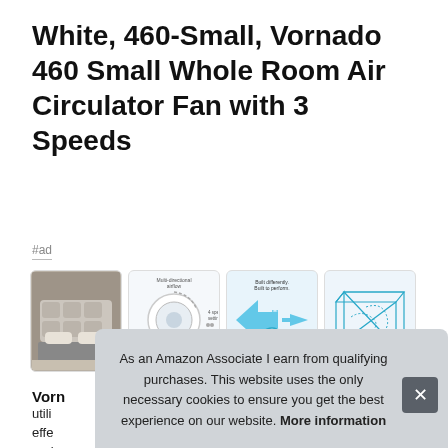White, 460-Small, Vornado 460 Small Whole Room Air Circulator Fan with 3 Speeds
#ad
[Figure (photo): Four product thumbnail images: (1) bedroom with fan on floor, (2) fan diagram showing multi-directional airflow and 4-speed settings labeled 'Control your comfort', (3) blue airflow diagram with fan labeled 'Built differently. Built to perform.' with speed mode icons, (4) 3D room diagram labeled 'Circulate all the air in the room.']
Vorn
utili
effec
repl
As an Amazon Associate I earn from qualifying purchases. This website uses the only necessary cookies to ensure you get the best experience on our website. More information